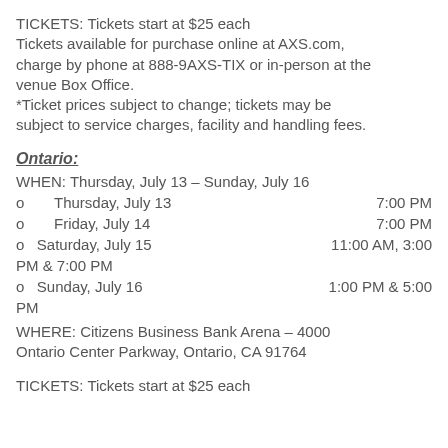TICKETS: Tickets start at $25 each
Tickets available for purchase online at AXS.com, charge by phone at 888-9AXS-TIX or in-person at the venue Box Office.
*Ticket prices subject to change; tickets may be subject to service charges, facility and handling fees.
Ontario:
WHEN: Thursday, July 13 – Sunday, July 16
Thursday, July 13    7:00 PM
Friday, July 14    7:00 PM
Saturday, July 15    11:00 AM, 3:00 PM & 7:00 PM
Sunday, July 16    1:00 PM & 5:00 PM
WHERE: Citizens Business Bank Arena – 4000 Ontario Center Parkway, Ontario, CA 91764
TICKETS: Tickets start at $25 each